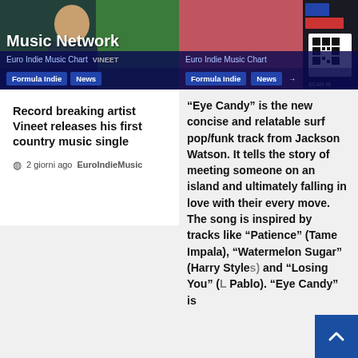[Figure (screenshot): Left column header image showing Euro Indie Music Chart website with navigation bar for Formula Indie and News, person in dark clothes on green background]
Record breaking artist Vineet releases his first country music single
2 giorni ago  EuroIndieMusic
[Figure (screenshot): Right column header image showing Euro Indie Music Chart website with Formula Indie and News navigation, QR code on right side, pink/red background]
“Eye Candy” is the new concise and relatable surf pop/funk track from Jackson Watson. It tells the story of meeting someone on an island and ultimately falling in love with their every move. The song is inspired by tracks like “Patience” (Tame Impala), “Watermelon Sugar” (Harry Style and “Losing You” (L Pablo). “Eye Candy” is